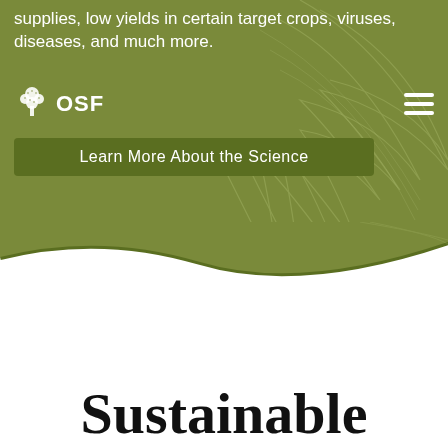supplies, low yields in certain target crops, viruses, diseases, and much more.
[Figure (logo): OSF logo with stylized tree icon and text 'OSF']
Learn More About the Science
[Figure (illustration): Decorative leaf/plant background with wave separator between green header and white lower section]
Sustainable